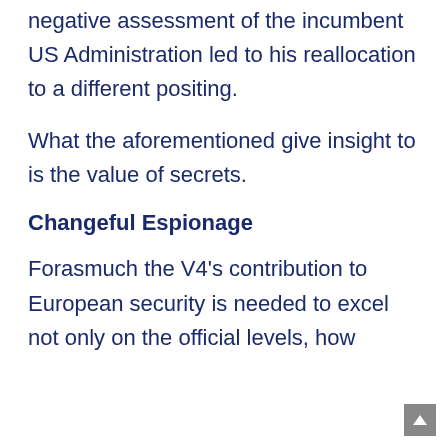negative assessment of the incumbent US Administration led to his reallocation to a different positing.
What the aforementioned give insight to is the value of secrets.
Changeful Espionage
Forasmuch the V4’s contribution to European security is needed to excel not only on the official levels, how